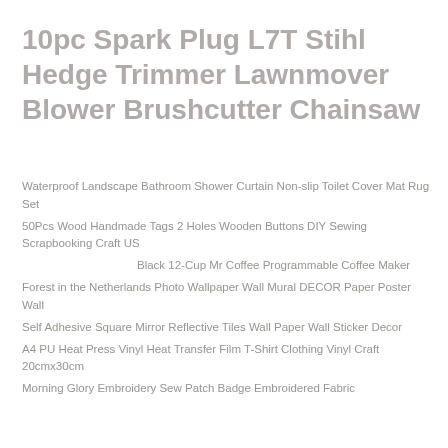10pc Spark Plug L7T Stihl Hedge Trimmer Lawnmover Blower Brushcutter Chainsaw
Waterproof Landscape Bathroom Shower Curtain Non-slip Toilet Cover Mat Rug Set
50Pcs Wood Handmade Tags 2 Holes Wooden Buttons DIY Sewing Scrapbooking Craft US
Black 12-Cup Mr Coffee Programmable Coffee Maker
Forest in the Netherlands Photo Wallpaper Wall Mural DECOR Paper Poster Wall
Self Adhesive Square Mirror Reflective Tiles Wall Paper Wall Sticker Decor
A4 PU Heat Press Vinyl Heat Transfer Film T-Shirt Clothing Vinyl Craft 20cmx30cm
Morning Glory Embroidery Sew Patch Badge Embroidered Fabric